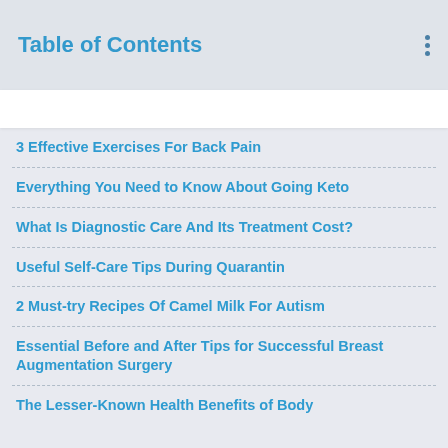Table of Contents
3 Effective Exercises For Back Pain
Everything You Need to Know About Going Keto
What Is Diagnostic Care And Its Treatment Cost?
Useful Self-Care Tips During Quarantin
2 Must-try Recipes Of Camel Milk For Autism
Essential Before and After Tips for Successful Breast Augmentation Surgery
The Lesser-Known Health Benefits of Body